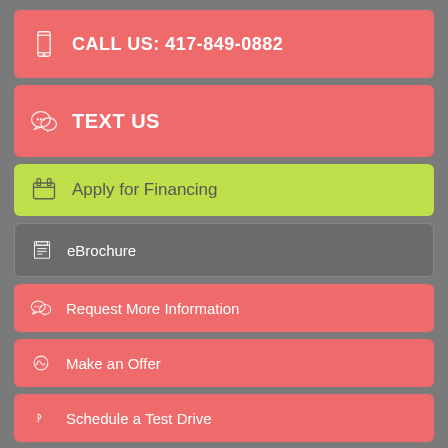CALL US: 417-849-0882
TEXT US
Apply for Financing
eBrochure
Request More Information
Make an Offer
Schedule a Test Drive
Calculate Payment